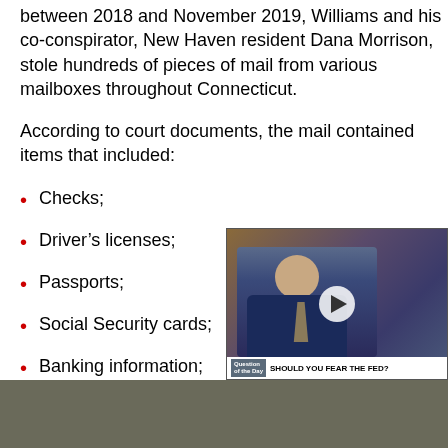between 2018 and November 2019, Williams and his co-conspirator, New Haven resident Dana Morrison, stole hundreds of pieces of mail from various mailboxes throughout Connecticut.
According to court documents, the mail contained items that included:
Checks;
Driver’s licenses;
Passports;
Social Security cards;
Banking information;
[Figure (screenshot): Embedded video player showing a news anchor in a suit, with a lower-third caption bar reading 'SHOULD YOU FEAR THE FED?' and a 'Question of the Day' label. A white play button is overlaid in the center. A close (X) button appears in the top-right corner.]